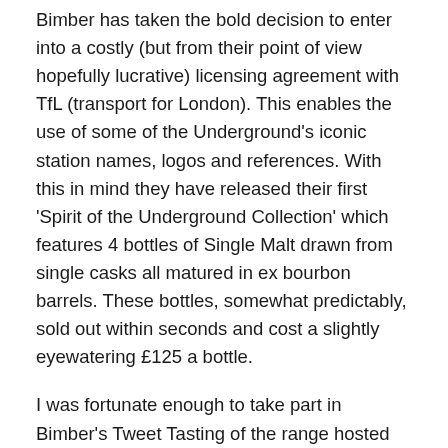Bimber has taken the bold decision to enter into a costly (but from their point of view hopefully lucrative) licensing agreement with TfL (transport for London). This enables the use of some of the Underground's iconic station names, logos and references. With this in mind they have released their first 'Spirit of the Underground Collection' which features 4 bottles of Single Malt drawn from single casks all matured in ex bourbon barrels. These bottles, somewhat predictably, sold out within seconds and cost a slightly eyewatering £125 a bottle.
I was fortunate enough to take part in Bimber's Tweet Tasting of the range hosted by the Whisky Wire so had an otherwise challenging chance to try all four initial releases.
All whiskies were bottled at natural cask strength, non-chill filtered, natural colour and drawn from 4 individual American oak ex-bourbon casks. I have to say as well that